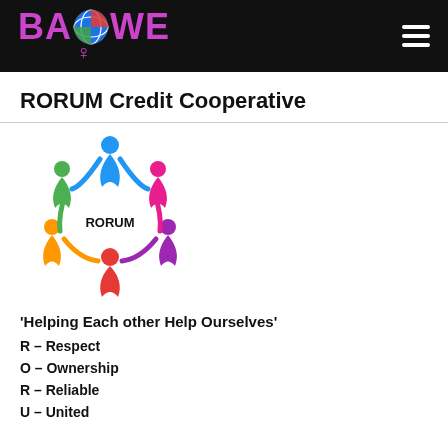[Figure (logo): BAOWE logo with globe icon and female symbol on black header bar]
RORUM Credit Cooperative
[Figure (logo): RORUM Credit Cooperative logo showing colorful figures in a circle with RORUM text in center]
‘Helping Each other Help Ourselves’
R – Respect
O – Ownership
R – Reliable
U – United